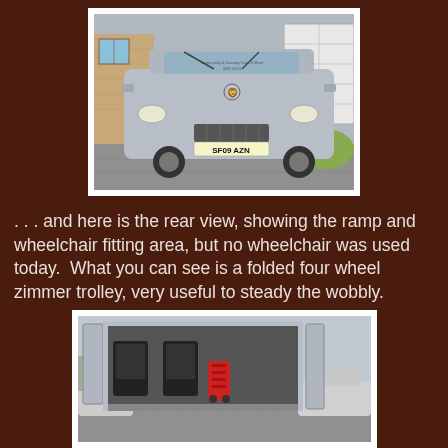[Figure (photo): Front view of a silver Peugeot Expert van with license plate SF09 AZN, parked on a brick driveway in front of a house with a white garage door. The van has writing on the windscreen.]
. . . and here is the rear view, showing the ramp and wheelchair fitting area, but no wheelchair was used today.  What you can see is a folded four wheel zimmer trolley, very useful to steady the wobbly.
[Figure (photo): Rear interior view of the same silver Peugeot Expert van with both rear doors open, showing the interior with black seats, a folded red zimmer/wheelchair trolley visible inside, and a ramp area. Another car and trees visible in the background.]